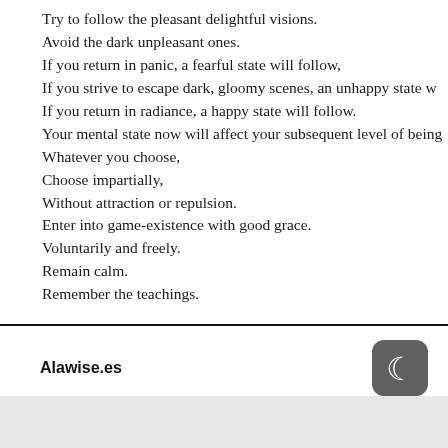Try to follow the pleasant delightful visions.
Avoid the dark unpleasant ones.
If you return in panic, a fearful state will follow,
If you strive to escape dark, gloomy scenes, an unhappy state w…
If you return in radiance, a happy state will follow.
Your mental state now will affect your subsequent level of being…
Whatever you choose,
Choose impartially,
Without attraction or repulsion.
Enter into game-existence with good grace.
Voluntarily and freely.
Remain calm.
Remember the teachings.
Alawise.es